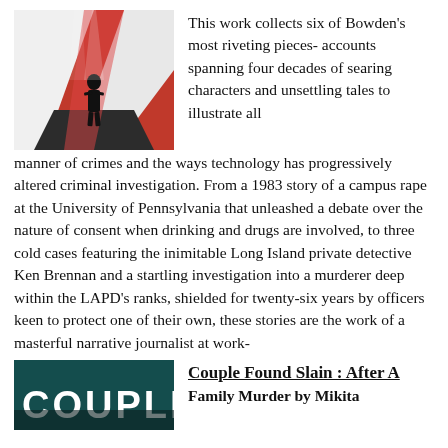[Figure (illustration): Book cover illustration showing a dark silhouette of a person standing on a red and white geometric background with dramatic lighting]
This work collects six of Bowden's most riveting pieces- accounts spanning four decades of searing characters and unsettling tales to illustrate all manner of crimes and the ways technology has progressively altered criminal investigation. From a 1983 story of a campus rape at the University of Pennsylvania that unleashed a debate over the nature of consent when drinking and drugs are involved, to three cold cases featuring the inimitable Long Island private detective Ken Brennan and a startling investigation into a murderer deep within the LAPD's ranks, shielded for twenty-six years by officers keen to protect one of their own, these stories are the work of a masterful narrative journalist at work-
[Figure (photo): Book cover for 'Couple Found Slain' with dark teal/dark background and large white text spelling COUPLE]
Couple Found Slain : After A Family Murder by Mikita